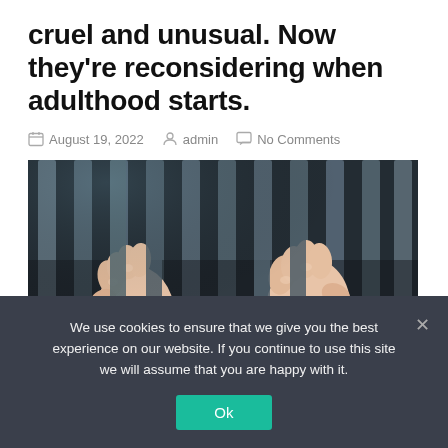cruel and unusual. Now they're reconsidering when adulthood starts.
August 19, 2022   admin   No Comments
[Figure (photo): Two hands gripping prison bars from inside a cell, dark background with vertical metal bars.]
We use cookies to ensure that we give you the best experience on our website. If you continue to use this site we will assume that you are happy with it.